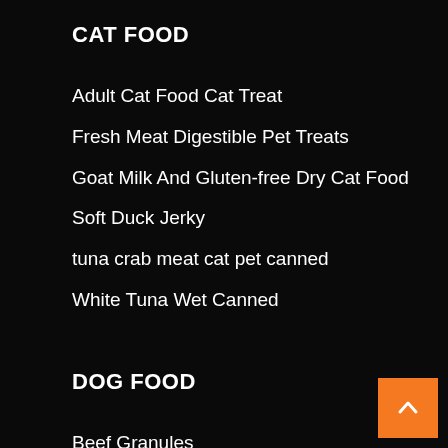CAT FOOD
Adult Cat Food Cat Treat
Fresh Meat Digestible Pet Treats
Goat Milk And Gluten-free Dry Cat Food
Soft Duck Jerky
tuna crab meat cat pet canned
White Tuna Wet Canned
DOG FOOD
Beef Granules